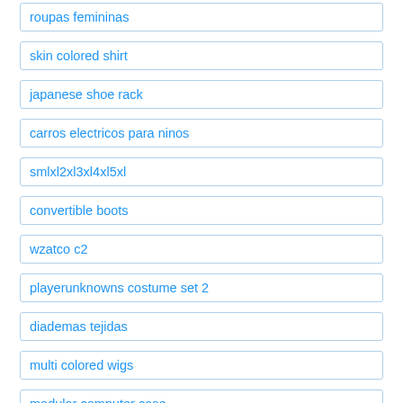roupas femininas
skin colored shirt
japanese shoe rack
carros electricos para ninos
smlxl2xl3xl4xl5xl
convertible boots
wzatco c2
playerunknowns costume set 2
diademas tejidas
multi colored wigs
modular computer case
night monkey costume